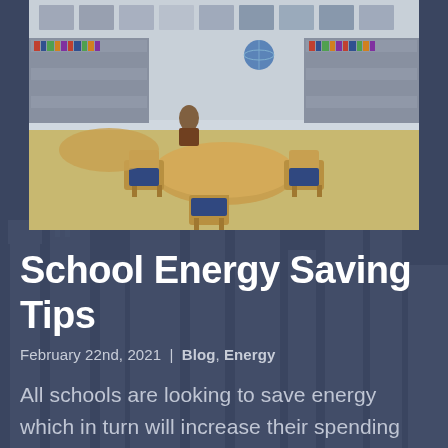[Figure (photo): A school library or classroom with round wooden tables, chairs with blue seats, and bookshelves lining the walls filled with books. A globe is visible on a shelf in the background.]
School Energy Saving Tips
February 22nd, 2021 | Blog, Energy
All schools are looking to save energy which in turn will increase their spending ability in other areas to benefit the children. School energy saving is crucial in all aspects from lighting to climate